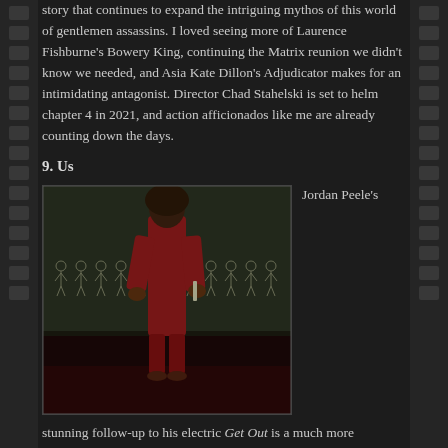story that continues to expand the intriguing mythos of this world of gentlemen assassins. I loved seeing more of Laurence Fishburne's Bowery King, continuing the Matrix reunion we didn't know we needed, and Asia Kate Dillon's Adjudicator makes for an intimidating antagonist. Director Chad Stahelski is set to helm chapter 4 in 2021, and action afficionados like me are already counting down the days.
9. Us
[Figure (photo): Scene from the movie 'Us' showing a woman in a red jumpsuit standing in front of a chalkboard with stick figure drawings]
Jordan Peele's
stunning follow-up to his electric Get Out is a much more